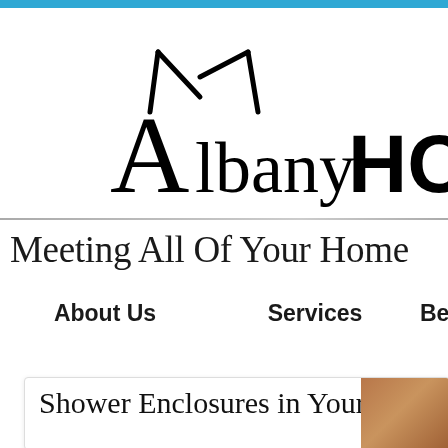[Figure (logo): Albany HOME REMOD... logo with stylized house/roof shape above the text]
Meeting All Of Your Home
About Us    Services    Be
Shower Enclosures in Your Home
[Figure (photo): Partial photo of a bathroom/shower enclosure, brown/wood tones, cropped at right edge]